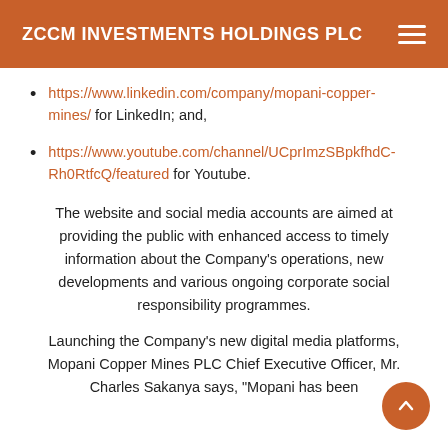ZCCM INVESTMENTS HOLDINGS PLC
https://www.linkedin.com/company/mopani-copper-mines/ for LinkedIn; and,
https://www.youtube.com/channel/UCprImzSBpkfhdC-Rh0RtfcQ/featured for Youtube.
The website and social media accounts are aimed at providing the public with enhanced access to timely information about the Company's operations, new developments and various ongoing corporate social responsibility programmes.
Launching the Company's new digital media platforms, Mopani Copper Mines PLC Chief Executive Officer, Mr. Charles Sakanya says, "Mopani has been